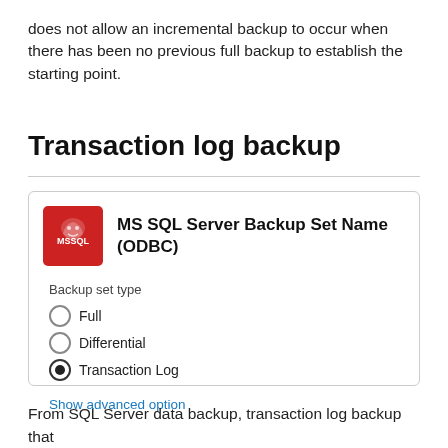does not allow an incremental backup to occur when there has been no previous full backup to establish the starting point.
Transaction log backup
[Figure (screenshot): MS SQL Server Backup Set Name (ODBC) dialog card showing Backup set type options: Full (unselected), Differential (unselected), Transaction Log (selected). A 'Show advanced option' link appears at the bottom.]
From SQL Server data backup, transaction log backup that